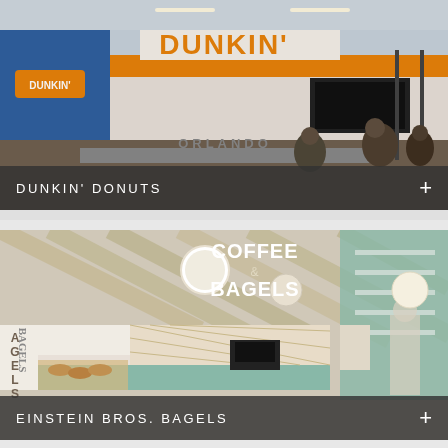[Figure (photo): Dunkin' Donuts store interior/exterior showing the orange and pink brand signage, counter area with menu screens, and customers in an airport or food court setting]
DUNKIN' DONUTS
[Figure (photo): Einstein Bros. Bagels store rendering showing 'Coffee & Bagels' signage, geometric patterned tiles, display cases with bagels, and modern interior design]
EINSTEIN BROS. BAGELS